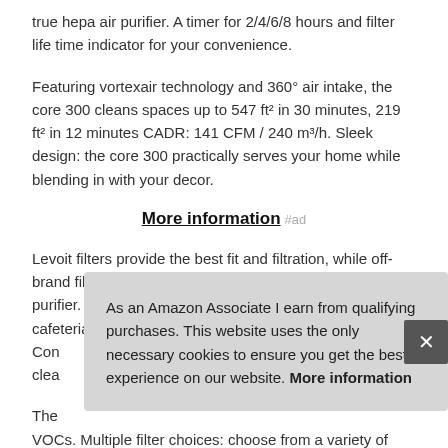true hepa air purifier. A timer for 2/4/6/8 hours and filter life time indicator for your convenience.
Featuring vortexair technology and 360° air intake, the core 300 cleans spaces up to 547 ft² in 30 minutes, 219 ft² in 12 minutes CADR: 141 CFM / 240 m³/h. Sleek design: the core 300 practically serves your home while blending in with your decor.
More information #ad
Levoit filters provide the best fit and filtration, while off-brand filters are unreliable and may damage the air purifier. Also fcc certified, ETL listed. Full certified for cafeteria energy star verified Con[tinued...] clea[ns...]
The[...] VOCs. Multiple filter choices: choose from a variety of
As an Amazon Associate I earn from qualifying purchases. This website uses the only necessary cookies to ensure you get the best experience on our website. More information